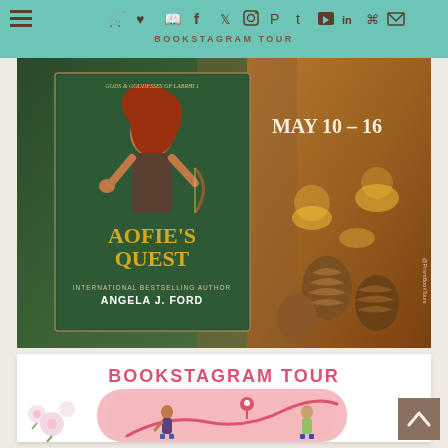BOOKSTAGRAM TOUR
[Figure (photo): Book cover promotional banner for 'Aofie's Quest' by Angela J. Ford, part of the Gods & Goddesses of Labrhi series, with date May 10-16 and candlelight/pine cone background]
[Figure (infographic): Bookstagram Tour promotional card with text 'BOOKSTAGRAM TOUR' in pink, featuring illustrated characters (a woman and a man) with a location pin and path on a pink background, and flower on the left side]